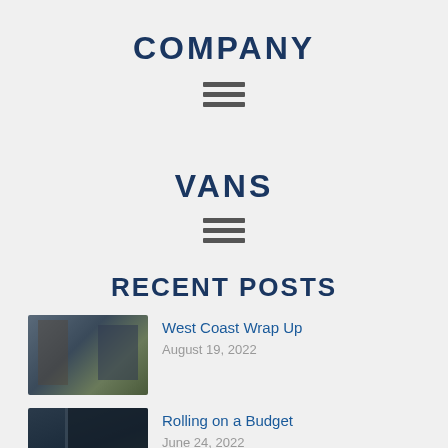COMPANY
[Figure (other): Hamburger menu icon with three horizontal lines]
VANS
[Figure (other): Hamburger menu icon with three horizontal lines]
RECENT POSTS
[Figure (photo): Photo of a trade show or retail booth with displays and equipment]
West Coast Wrap Up
August 19, 2022
[Figure (photo): Photo of the rear of a dark-colored van]
Rolling on a Budget
June 24, 2022